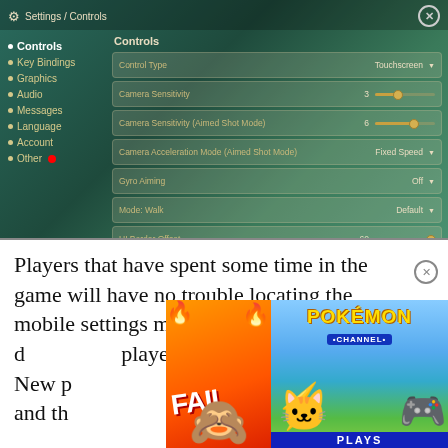[Figure (screenshot): Game settings screen showing Settings / Controls menu with left navigation (Controls selected, Key Bindings, Graphics, Audio, Messages, Language, Account, Other) and right panel with control settings: Control Type = Touchscreen, Camera Sensitivity = 3, Camera Sensitivity (Aimed Shot Mode) = 6, Camera Acceleration Mode (Aimed Shot Mode) = Fixed Speed, Gyro Aiming = Off, Mode: Walk = Default, UI Border Offset = 60]
Players that have spent some time in the game will have no trouble locating the mobile settings menu. However, it can be difficult for players that are just finding... New p... and th...
[Figure (screenshot): Overlapping advertisement thumbnails: FAIL thumbnail with fire and face, and Pokemon Channel thumbnail with Pikachu and trainer, PLAYS bar at bottom]